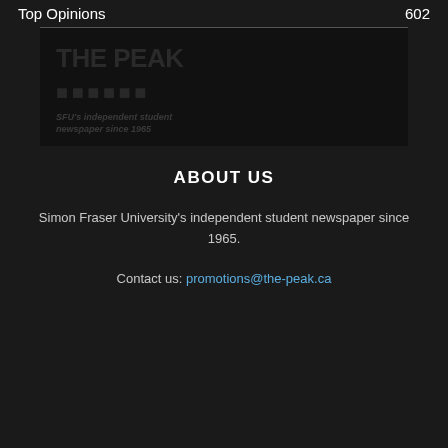Top Opinions    602
[Figure (logo): The Peak newspaper logo with dark background showing stylized text and tagline 'SFU's independent student newspaper since 1965']
ABOUT US
Simon Fraser University's independent student newspaper since 1965.
Contact us: promotions@the-peak.ca